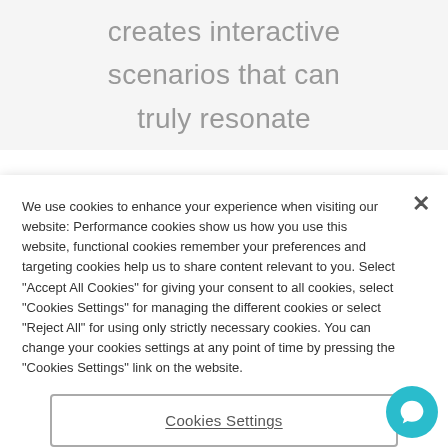creates interactive
scenarios that can
truly resonate
We use cookies to enhance your experience when visiting our website: Performance cookies show us how you use this website, functional cookies remember your preferences and targeting cookies help us to share content relevant to you. Select "Accept All Cookies" for giving your consent to all cookies, select "Cookies Settings" for managing the different cookies or select "Reject All" for using only strictly necessary cookies. You can change your cookies settings at any point of time by pressing the "Cookies Settings" link on the website.
Cookies Settings
Reject All
Accept All Cookies